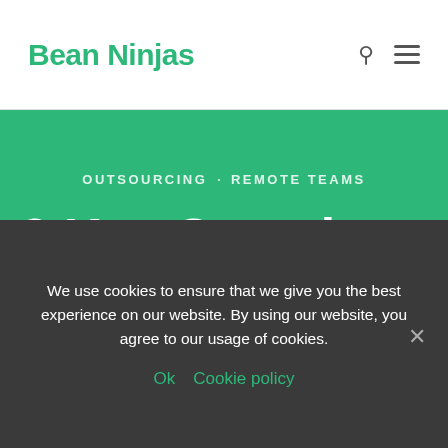Bean Ninjas
OUTSOURCING · REMOTE TEAMS
3 Key Questions to Consider Before Hiring a Freelance
We use cookies to ensure that we give you the best experience on our website. By using our website, you agree to our usage of cookies.
Ok   Cookie policy